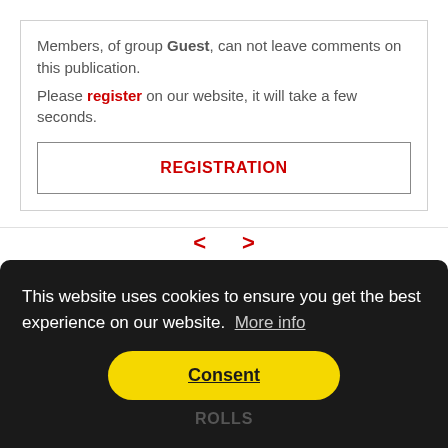Members, of group Guest, can not leave comments on this publication.
Please register on our website, it will take a few seconds.
REGISTRATION
< >
This website uses cookies to ensure you get the best experience on our website. More info
Consent
ROLLS